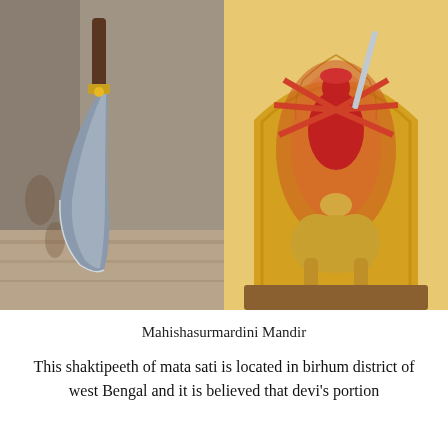[Figure (photo): Two side-by-side photos: left shows a large curved blade/cleaver leaning against a stone wall in a corner; right shows a golden idol of Mahishasurmardini (a multi-armed Hindu goddess in red, mounted on a golden lion/buffalo figure) set against an ornate gold arched backdrop.]
Mahishasurmardini Mandir
This shaktipeeth of mata sati is located in birhum district of west Bengal and it is believed that devi's portion